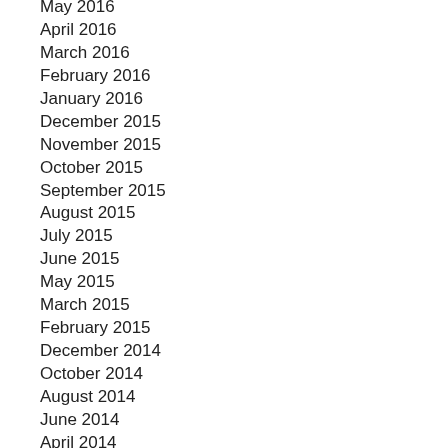May 2016
April 2016
March 2016
February 2016
January 2016
December 2015
November 2015
October 2015
September 2015
August 2015
July 2015
June 2015
May 2015
March 2015
February 2015
December 2014
October 2014
August 2014
June 2014
April 2014
February 2014
December 2013
October 2013
August 2013
June 2013